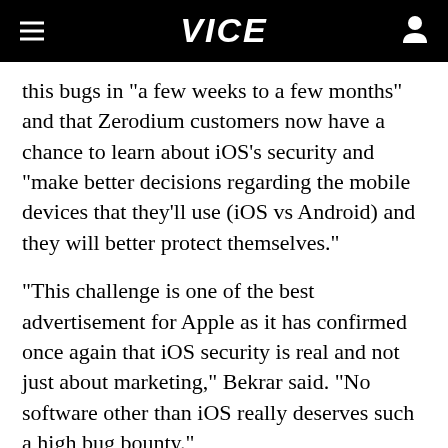VICE
this bugs in "a few weeks to a few months" and that Zerodium customers now have a chance to learn about iOS's security and "make better decisions regarding the mobile devices that they'll use (iOS vs Android) and they will better protect themselves."
"This challenge is one of the best advertisement for Apple as it has confirmed once again that iOS security is real and not just about marketing," Bekrar said. "No software other than iOS really deserves such a high bug bounty."